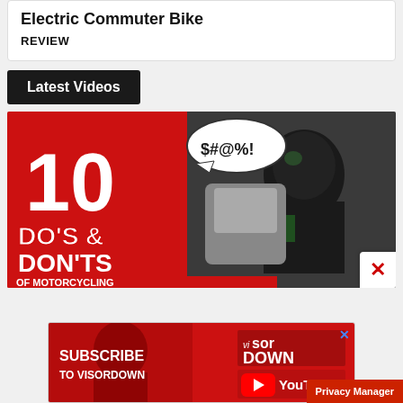Electric Commuter Bike
REVIEW
Latest Videos
[Figure (photo): Video thumbnail showing '10 DO'S & DON'TS OF MOTORCYCLING' with a motorcyclist in black gear and helmet, red background with white bold text, speech bubble with '$#@%!']
[Figure (screenshot): Advertisement banner: 'SUBSCRIBE TO VISORDOWN' in bold white text on red background with Visordown and YouTube logos, and a Privacy Manager button in the bottom right]